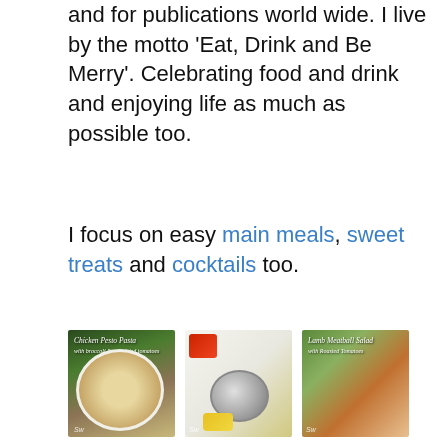and for publications world wide. I live by the motto 'Eat, Drink and Be Merry'. Celebrating food and drink and enjoying life as much as possible too.
I focus on easy main meals, sweet treats and cocktails too.
[Figure (photo): Three food/kitchen images in a row: Chicken Pesto Pasta with broccoli and sun-dried tomatoes, a kitchen tools flat-lay with a pot and vegetables, and Lamb Meatball Salad with Roasted Tomatoes with social share buttons]
...